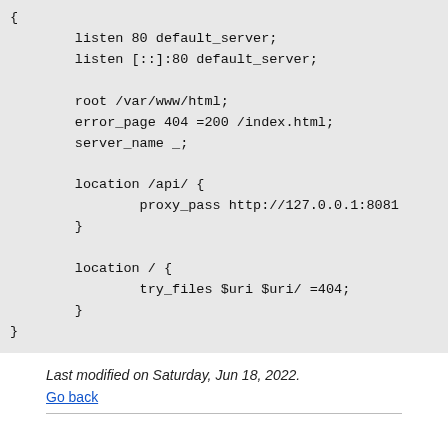{
        listen 80 default_server;
        listen [::]:80 default_server;

        root /var/www/html;
        error_page 404 =200 /index.html;
        server_name _;

        location /api/ {
                proxy_pass http://127.0.0.1:8081
        }

        location / {
                try_files $uri $uri/ =404;
        }
}
Last modified on Saturday, Jun 18, 2022.
Go back